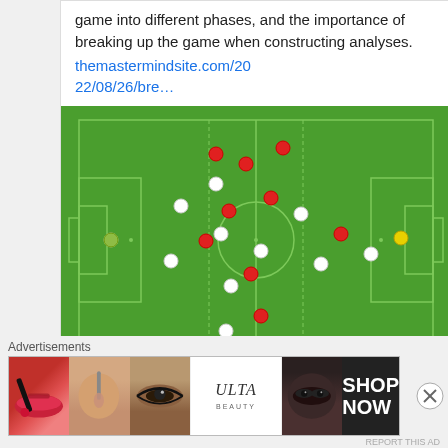game into different phases, and the importance of breaking up the game when constructing analyses.
themastermindsite.com/2022/08/26/bre…
[Figure (illustration): Football pitch diagram showing player positions as red and white dots on a green field with white markings, divided into thirds.]
themastermindsite.com
Breaking down the phases of the game
Advertisements
[Figure (photo): Advertisement banner showing makeup-related images and ULTA beauty logo, with SHOP NOW text.]